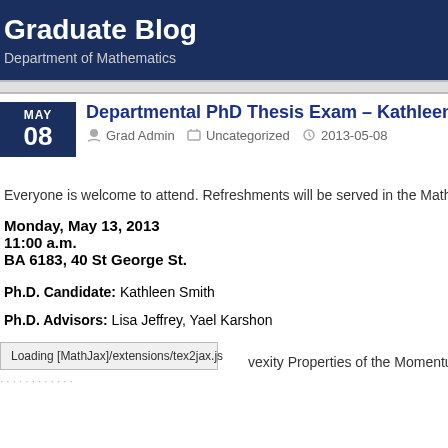Graduate Blog
Department of Mathematics
Departmental PhD Thesis Exam – Kathleen
Grad Admin   Uncategorized   2013-05-08
Everyone is welcome to attend. Refreshments will be served in the Math Loun
Monday, May 13, 2013
11:00 a.m.
BA 6183, 40 St George St.
Ph.D. Candidate: Kathleen Smith
Ph.D. Advisors: Lisa Jeffrey, Yael Karshon
Loading [MathJax]/extensions/tex2jax.js   vexity Properties of the Momentum Map fo